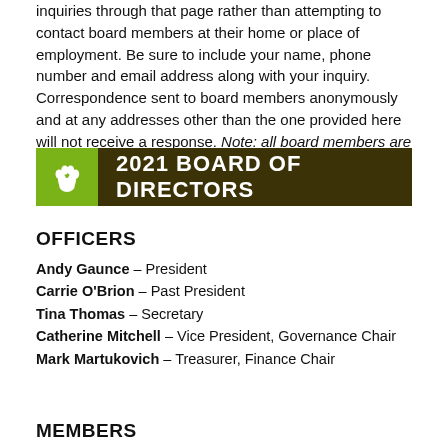inquiries through that page rather than attempting to contact board members at their home or place of employment. Be sure to include your name, phone number and email address along with your inquiry. Correspondence sent to board members anonymously and at any addresses other than the one provided here will not receive a response. Note: all board members are independent, voting members
2021 BOARD OF DIRECTORS
OFFICERS
Andy Gaunce – President
Carrie O'Brion – Past President
Tina Thomas – Secretary
Catherine Mitchell – Vice President, Governance Chair
Mark Martukovich – Treasurer, Finance Chair
MEMBERS